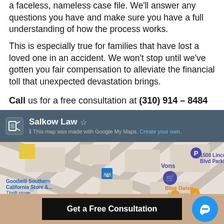a faceless, nameless case file. We'll answer any questions you have and make sure you have a full understanding of how the process works.
This is especially true for families that have lost a loved one in an accident. We won't stop until we've gotten you fair compensation to alleviate the financial toll that unexpected devastation brings.
Call us for a free consultation at (310) 914 – 8484
[Figure (map): Google My Maps embed showing Salkow Law location with surrounding businesses including Goodwill Southern California Store, Blue Daisy American restaurant, Vons, 1500 Lincoln Blvd Parking, and Imami Burger visible on the map.]
Get a Free Consultation